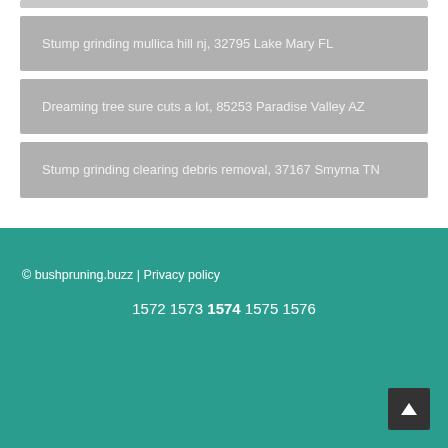Stump grinding mullica hill nj, 32795 Lake Mary FL
Dreaming tree sure cuts a lot, 85253 Paradise Valley AZ
Stump grinding clearing debris removal, 37167 Smyrna TN
© bushpruning.buzz | Privacy policy
1572 1573 1574 1575 1576